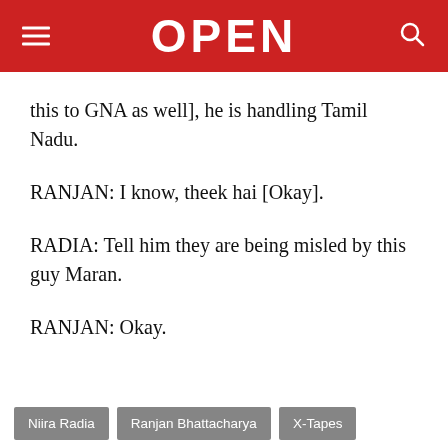OPEN
this to GNA as well], he is handling Tamil Nadu.
RANJAN: I know, theek hai [Okay].
RADIA: Tell him they are being misled by this guy Maran.
RANJAN: Okay.
Niira Radia
Ranjan Bhattacharya
X-Tapes